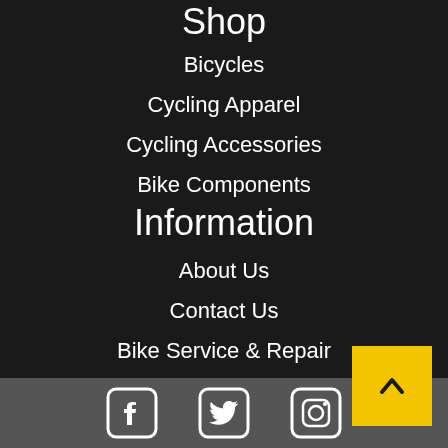Shop
Bicycles
Cycling Apparel
Cycling Accessories
Bike Components
Information
About Us
Contact Us
Bike Service & Repair
Shopping Guide
[Figure (other): Social media icons: Facebook, Twitter, Instagram. Back to top button with upward chevron on yellow background.]